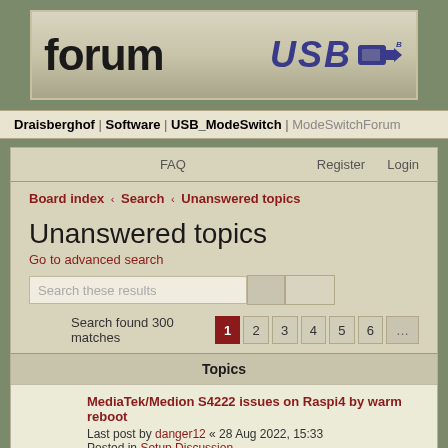[Figure (screenshot): Forum banner with 'forum' text and USB logo on a beige/tan background]
Draisberghof | Software | USB_ModeSwitch | ModeSwitchForum
FAQ  Register  Login
Board index « Search « Unanswered topics
Unanswered topics
Go to advanced search
Search these results
Search found 300 matches  1  2  3  4  5  6  ...
Topics
MediaTek/Medion S4222 issues on Raspi4 by warm reboot
Last post by danger12 « 28 Aug 2022, 15:33
Posted in Setup Discussion
Huawei E5785Lh-22c - strange behavior?
Last post by tomeq_ « 05 Aug 2022, 20:38
Posted in Device Information